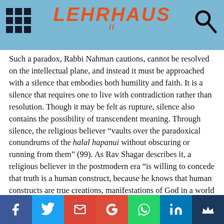LEHRHAUS
Such a paradox, Rabbi Nahman cautions, cannot be resolved on the intellectual plane, and instead it must be approached with a silence that embodies both humility and faith. It is a silence that requires one to live with contradiction rather than resolution. Though it may be felt as rupture, silence also contains the possibility of transcendent meaning. Through silence, the religious believer “vaults over the paradoxical conundrums of the halal hapanui without obscuring or running from them” (99). As Rav Shagar describes it, a religious believer in the postmodern era “is willing to concede that truth is a human construct, because he knows that human constructs are true creations, manifestations of God in a world that is “filled with His glory,” rather than an empty meaningless game” (116). In the end, “The doubting of faith’s universal absoluteness—postmodernism excels at this—has a balancing, productive role: It does not stifle our
Social sharing bar: Facebook, Twitter, Gmail, Google+, WhatsApp, LinkedIn, Crown